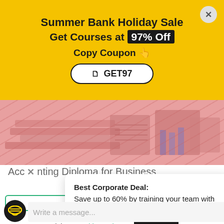Summer Bank Holiday Sale
Get Courses at 97% Off
Copy Coupon 👆
GET97
[Figure (photo): Pink/rose colored image showing accounting/financial books and documents on a desk]
Accounting Diploma for Business
Best Corporate Deal:
Save up to 60% by training your team with us
$417.24 $24.85
Write a message...
xperience. opt-out if you wish.
Cookie settings
ACCEPT